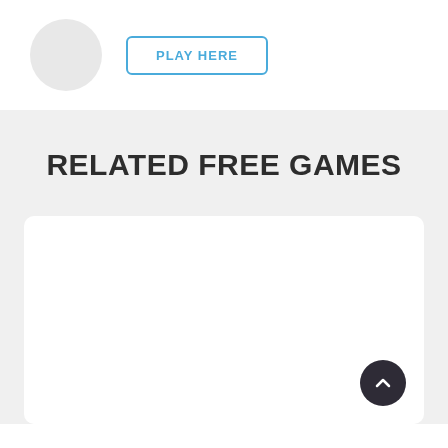[Figure (illustration): Gray circle placeholder icon on the left, and a 'PLAY HERE' button with blue border and blue text on the right, on a white background.]
RELATED FREE GAMES
[Figure (other): White rounded card placeholder area with a dark circular scroll-to-top button (chevron up arrow) in the bottom-right corner, on a light gray background.]